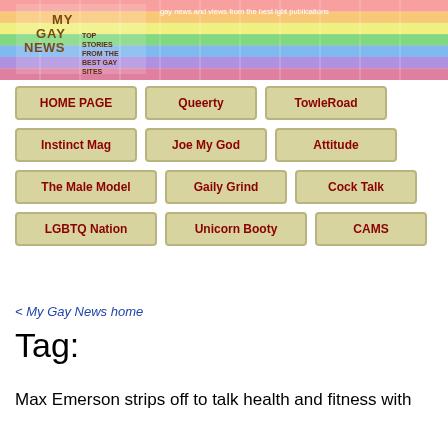[Figure (illustration): My Gay News rainbow banner header with logo and tagline 'gay news and views from the best lgbt publications']
HOME PAGE
Queerty
TowleRoad
Instinct Mag
Joe My God
Attitude
The Male Model
Gaily Grind
Cock Talk
LGBTQ Nation
Unicorn Booty
CAMS
< My Gay News home
Tag:
Max Emerson strips off to talk health and fitness with